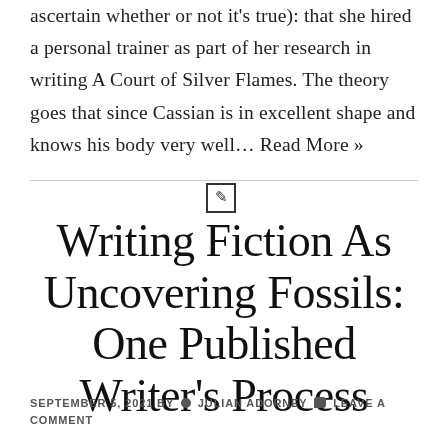ascertain whether or not it's true): that she hired a personal trainer as part of her research in writing A Court of Silver Flames. The theory goes that since Cassian is in excellent shape and knows his body very well… Read More »
✎ Writing Fiction As Uncovering Fossils: One Published Writer's Process
SEPTEMBER 5, 2021 BY JULIAN ADORNEY LEAVE A COMMENT